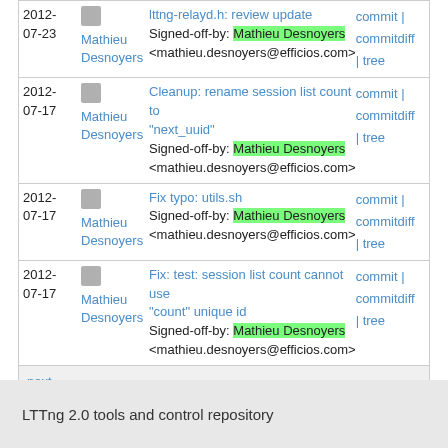| Date | Author | Message | Links |
| --- | --- | --- | --- |
| 2012-07-23 | Mathieu Desnoyers | lttng-relayd.h: review update
Signed-off-by: Mathieu Desnoyers <mathieu.desnoyers@efficios.com> | commit | commitdiff | tree |
| 2012-07-17 | Mathieu Desnoyers | Cleanup: rename session list count to "next_uuid"
Signed-off-by: Mathieu Desnoyers <mathieu.desnoyers@efficios.com> | commit | commitdiff | tree |
| 2012-07-17 | Mathieu Desnoyers | Fix typo: utils.sh
Signed-off-by: Mathieu Desnoyers <mathieu.desnoyers@efficios.com> | commit | commitdiff | tree |
| 2012-07-17 | Mathieu Desnoyers | Fix: test: session list count cannot use "count" unique id
Signed-off-by: Mathieu Desnoyers <mathieu.desnoyers@efficios.com> | commit | commitdiff | tree |
next
This page took 0.057556 seconds and 3 git commands to generate.
LTTng 2.0 tools and control repository